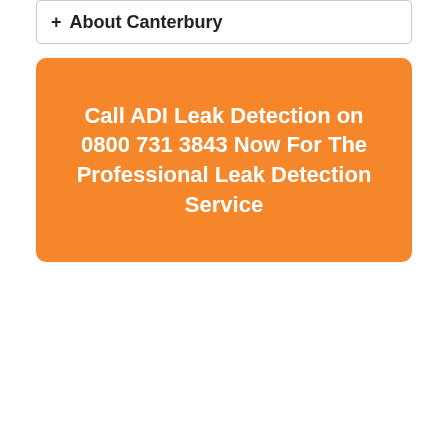+ About Canterbury
Call ADI Leak Detection on 0800 731 3843 Now For The Professional Leak Detection Service